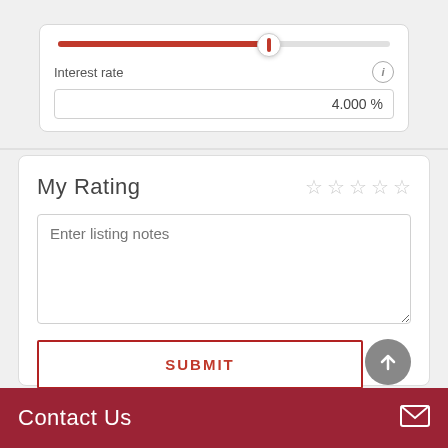[Figure (screenshot): Mortgage calculator widget showing a slider control with a red filled track at approximately 62% and a white circular thumb, plus an Interest rate field showing 4.000%]
My Rating
Enter listing notes
SUBMIT
Contact Us